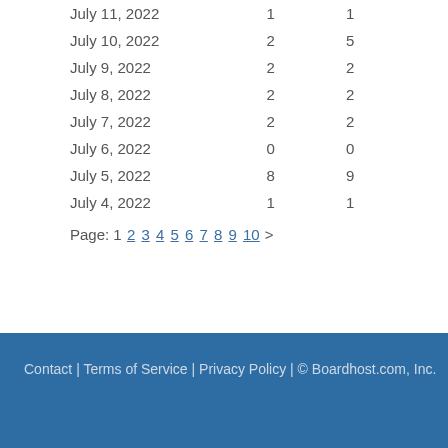| Date | Count |  |
| --- | --- | --- |
| July 11, 2022 | 1 | 1 |
| July 10, 2022 | 2 | 5 |
| July 9, 2022 | 2 | 2 |
| July 8, 2022 | 2 | 2 |
| July 7, 2022 | 2 | 2 |
| July 6, 2022 | 0 | 0 |
| July 5, 2022 | 8 | 9 |
| July 4, 2022 | 1 | 1 |
Page: 1 2 3 4 5 6 7 8 9 10 >
Contact | Terms of Service | Privacy Policy | © Boardhost.com, Inc.